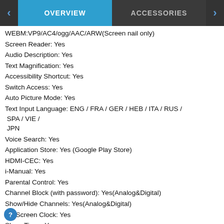OVERVIEW | ACCESSORIES
WEBM:VP9/AC4/ogg/AAC/ARW(Screen nail only)
Screen Reader: Yes
Audio Description: Yes
Text Magnification: Yes
Accessibility Shortcut: Yes
Switch Access: Yes
Auto Picture Mode: Yes
Text Input Language: ENG / FRA / GER / HEB / ITA / RUS / SPA / VIE / JPN
Voice Search: Yes
Application Store: Yes (Google Play Store)
HDMI-CEC: Yes
i-Manual: Yes
Parental Control: Yes
Channel Block (with password): Yes(Analog&Digital)
Show/Hide Channels: Yes(Analog&Digital)
On Screen Clock: Yes
Sleep Timer: Yes
On/Off Timer: Yes
USB drive format support: Yes (Supported File System: FAT16/FAT32/exFAT/NTFS)
Display Language: